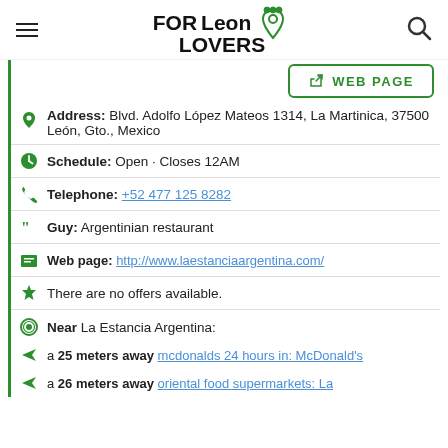FORLeon LOVERS
WEB PAGE
Address: Blvd. Adolfo López Mateos 1314, La Martinica, 37500 León, Gto., Mexico
Schedule: Open · Closes 12AM
Telephone: +52 477 125 8282
Guy: Argentinian restaurant
Web page: http://www.laestanciaargentina.com/
There are no offers available.
Near La Estancia Argentina:
a 25 meters away mcdonalds 24 hours in: McDonald's
a 26 meters away oriental food supermarkets: La